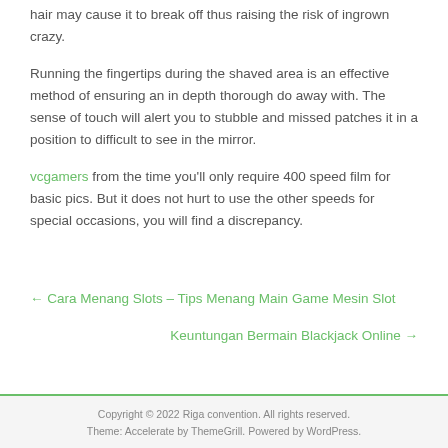hair may cause it to break off thus raising the risk of ingrown crazy.
Running the fingertips during the shaved area is an effective method of ensuring an in depth thorough do away with. The sense of touch will alert you to stubble and missed patches it in a position to difficult to see in the mirror.
vcgamers from the time you'll only require 400 speed film for basic pics. But it does not hurt to use the other speeds for special occasions, you will find a discrepancy.
← Cara Menang Slots – Tips Menang Main Game Mesin Slot
Keuntungan Bermain Blackjack Online →
Copyright © 2022 Riga convention. All rights reserved.
Theme: Accelerate by ThemeGrill. Powered by WordPress.